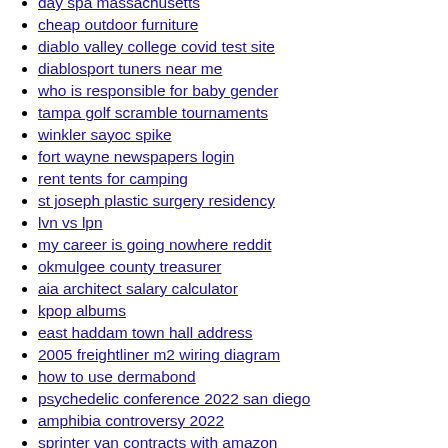day spa massachusetts
cheap outdoor furniture
diablo valley college covid test site
diablosport tuners near me
who is responsible for baby gender
tampa golf scramble tournaments
winkler sayoc spike
fort wayne newspapers login
rent tents for camping
st joseph plastic surgery residency
lvn vs lpn
my career is going nowhere reddit
okmulgee county treasurer
aia architect salary calculator
kpop albums
east haddam town hall address
2005 freightliner m2 wiring diagram
how to use dermabond
psychedelic conference 2022 san diego
amphibia controversy 2022
sprinter van contracts with amazon
usa wrestling age divisions
tv audience ratings
cardello lighting hours
commercial rentals ma
bountiful old sayings of road